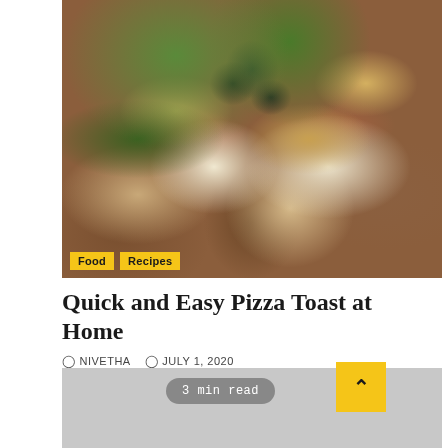[Figure (photo): Close-up photo of pizza toast with melted cheese, olives, green peppers, and red chili flakes on bread slices]
Food   Recipes
Quick and Easy Pizza Toast at Home
NIVETHA   JULY 1, 2020
A very quick and easy to make pizza recipe at home using Bread. Read...
READ MORE
3 min read